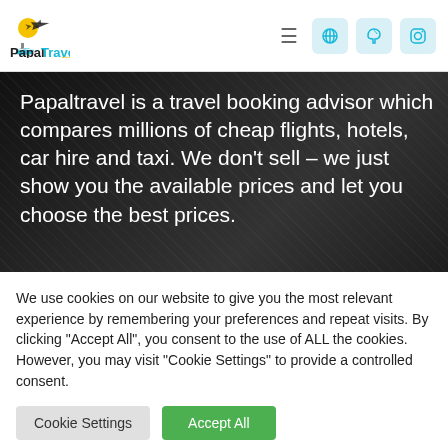[Figure (logo): PapalTravel logo with airplane and ship icon, text reads Papal in dark and Travel in cyan, .com in yellow]
Papaltravel is a travel booking advisor which compares millions of cheap flights, hotels, car hire and taxi. We don’t sell – we just show you the available prices and let you choose the best prices.
We use cookies on our website to give you the most relevant experience by remembering your preferences and repeat visits. By clicking “Accept All”, you consent to the use of ALL the cookies. However, you may visit "Cookie Settings" to provide a controlled consent.
Cookie Settings
Accept All
Translate »